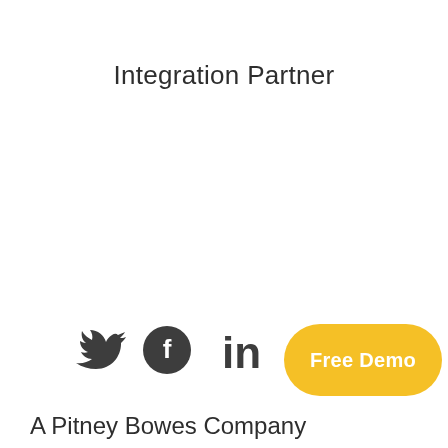Integration Partner
[Figure (illustration): Social media icons: Twitter bird, Facebook circle with f, LinkedIn 'in' logo, all in dark gray]
[Figure (other): Yellow rounded pill button with white bold text reading 'Free Demo']
A Pitney Bowes Company